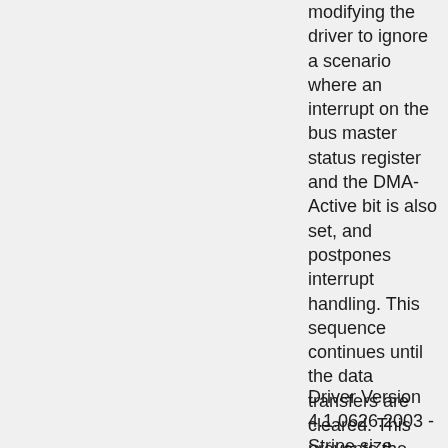modifying the driver to ignore a scenario where an interrupt on the bus master status register and the DMA-Active bit is also set, and postpones interrupt handling. This sequence continues until the data transfers are cleared. This prevents the abort of the DMA, thus maintaining data integrity.
Driver Version 4.1.0626.2003 - Stripe size reported to application is fixed. - The Write-verify...